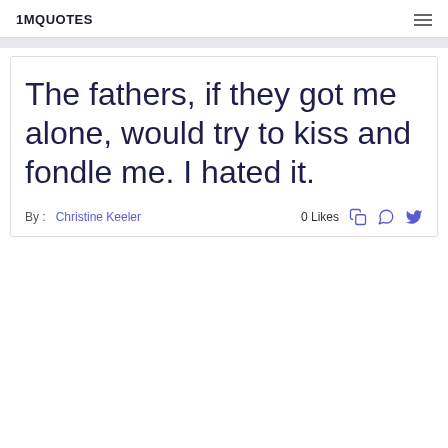1MQUOTES
The fathers, if they got me alone, would try to kiss and fondle me. I hated it.
By : Christine Keeler   0 Likes